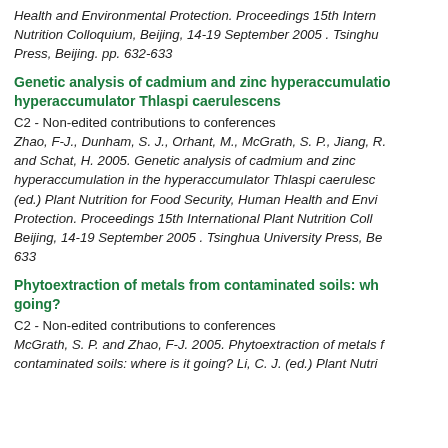Health and Environmental Protection. Proceedings 15th International Plant Nutrition Colloquium, Beijing, 14-19 September 2005 . Tsinghua University Press, Beijing. pp. 632-633
Genetic analysis of cadmium and zinc hyperaccumulation in the hyperaccumulator Thlaspi caerulescens
C2 - Non-edited contributions to conferences
Zhao, F-J., Dunham, S. J., Orhant, M., McGrath, S. P., Jiang, R. and Schat, H. 2005. Genetic analysis of cadmium and zinc hyperaccumulation in the hyperaccumulator Thlaspi caerulescens (ed.) Plant Nutrition for Food Security, Human Health and Environmental Protection. Proceedings 15th International Plant Nutrition Colloquium, Beijing, 14-19 September 2005 . Tsinghua University Press, Beijing. pp. 632-633
Phytoextraction of metals from contaminated soils: where is it going?
C2 - Non-edited contributions to conferences
McGrath, S. P. and Zhao, F-J. 2005. Phytoextraction of metals from contaminated soils: where is it going? Li, C. J. (ed.) Plant Nutrition for Food Security, Human Health and Environmental Protection.